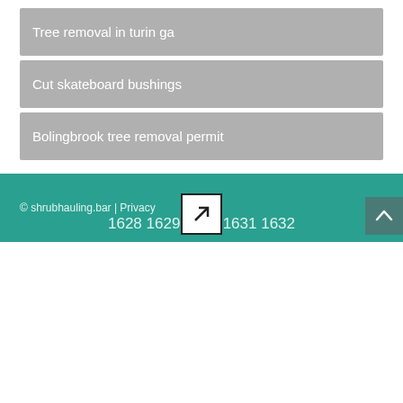Tree removal in turin ga
Cut skateboard bushings
Bolingbrook tree removal permit
© shrubhauling.bar | Privacy
1628 1629 1630 1631 1632